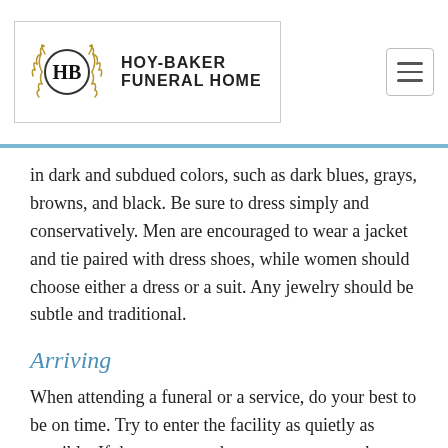HOY-BAKER FUNERAL HOME
in dark and subdued colors, such as dark blues, grays, browns, and black. Be sure to dress simply and conservatively. Men are encouraged to wear a jacket and tie paired with dress shoes, while women should choose either a dress or a suit. Any jewelry should be subtle and traditional.
Arriving
When attending a funeral or a service, do your best to be on time. Try to enter the facility as quietly as possible. If there are no ushers present, remember that the first few rows of seats are usually for the immediate family and close friends. Acquaintances should appropriately seat themselves in the middle or towards the rear.